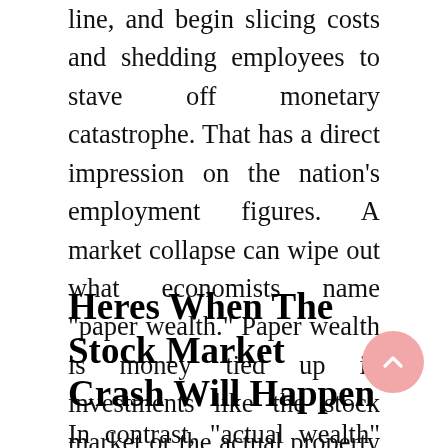line, and begin slicing costs and shedding employees to stave off monetary catastrophe. That has a direct impression on the nation's employment figures. A market collapse can wipe out what economists name “paper wealth.” Paper wealth is money tied up in investments like the stock market or the actual property market that could possibly be offered for a achieve, but hasn’t but.
Heres When The Stock Market Crash Will Happen
In contrast, “actual wealth” refers to actual,